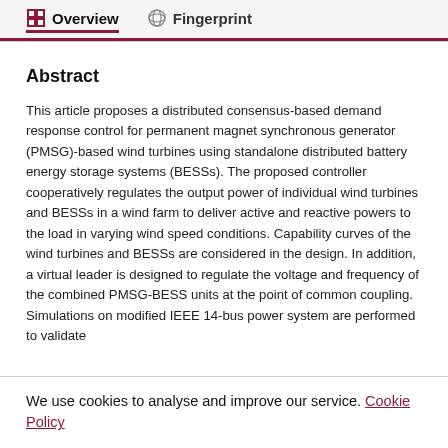Overview   Fingerprint
Abstract
This article proposes a distributed consensus-based demand response control for permanent magnet synchronous generator (PMSG)-based wind turbines using standalone distributed battery energy storage systems (BESSs). The proposed controller cooperatively regulates the output power of individual wind turbines and BESSs in a wind farm to deliver active and reactive powers to the load in varying wind speed conditions. Capability curves of the wind turbines and BESSs are considered in the design. In addition, a virtual leader is designed to regulate the voltage and frequency of the combined PMSG-BESS units at the point of common coupling. Simulations on modified IEEE 14-bus power system are performed to validate
We use cookies to analyse and improve our service. Cookie Policy